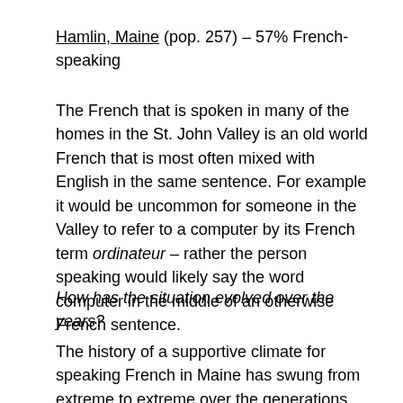Hamlin, Maine (pop. 257) – 57% French-speaking
The French that is spoken in many of the homes in the St. John Valley is an old world French that is most often mixed with English in the same sentence. For example it would be uncommon for someone in the Valley to refer to a computer by its French term ordinateur – rather the person speaking would likely say the word computer in the middle of an otherwise French sentence.
How has the situation evolved over the years?
The history of a supportive climate for speaking French in Maine has swung from extreme to extreme over the generations and has somewhat settled in a lukewarm place. In the early part of the last century, Maine had the highest percentage of people registered as members of the Klu Klux Klan in the United States. Unlike in the south